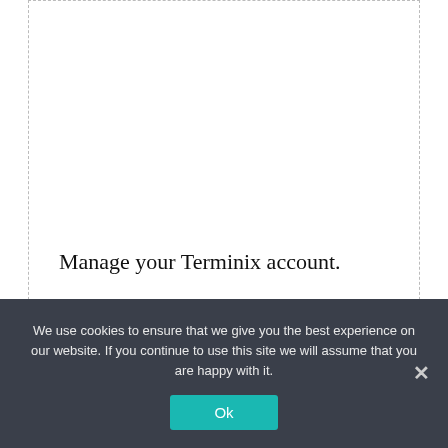[Figure (screenshot): A dashed-border card area (mostly white/empty space) with text 'Manage your Terminix account.' near the bottom]
Manage your Terminix account.
Search
We use cookies to ensure that we give you the best experience on our website. If you continue to use this site we will assume that you are happy with it.